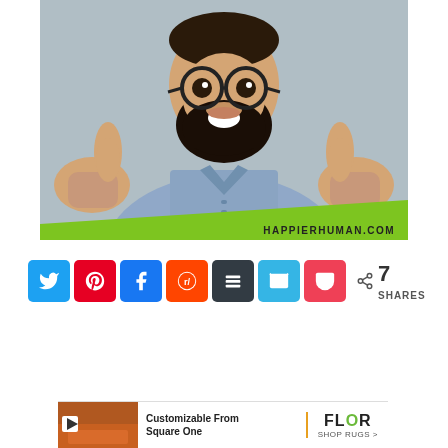[Figure (photo): Bearded man with glasses giving two thumbs up, smiling broadly, wearing a light blue button-up shirt. Photo has a light gray background. Bottom of image has a diagonal green stripe. Watermark reads HAPPIERHUMAN.COM]
[Figure (infographic): Social sharing button bar with Twitter (blue), Pinterest (red), Facebook (blue), Reddit (orange-red), Buffer (dark gray), Email (light blue), Pocket (pink-red) buttons, followed by a share icon with count '7 SHARES']
[Figure (infographic): Advertisement banner for FLOR rugs. Shows play button icon, room image with orange rug, text 'Customizable From Square One', vertical divider, FLOR logo and 'SHOP RUGS >' text]